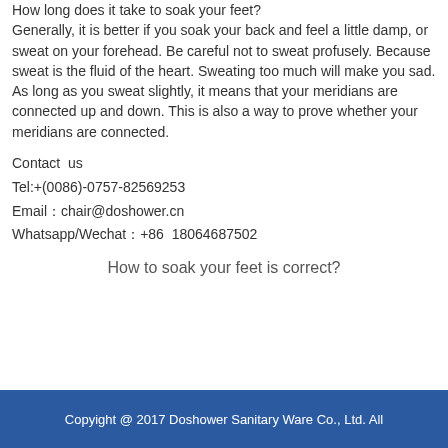How long does it take to soak your feet? Generally, it is better if you soak your back and feel a little damp, or sweat on your forehead. Be careful not to sweat profusely. Because sweat is the fluid of the heart. Sweating too much will make you sad. As long as you sweat slightly, it means that your meridians are connected up and down. This is also a way to prove whether your meridians are connected.
Contact us
Tel:+(0086)-0757-82569253
Email：chair@doshower.cn
Whatsapp/Wechat：+86 18064687502
How to soak your feet is correct?
Copyight @ 2017 Doshower Sanitary Ware Co., Ltd. All